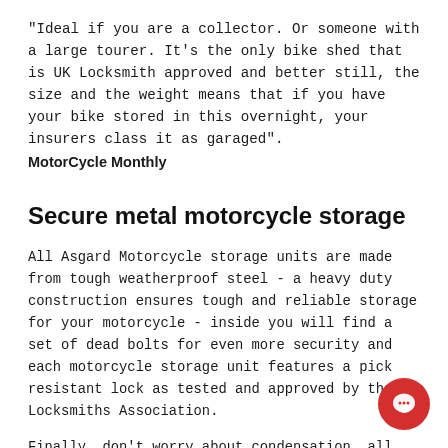"Ideal if you are a collector. Or someone with a large tourer. It's the only bike shed that is UK Locksmith approved and better still, the size and the weight means that if you have your bike stored in this overnight, your insurers class it as garaged".
MotorCycle Monthly
Secure metal motorcycle storage
All Asgard Motorcycle storage units are made from tough weatherproof steel - a heavy duty construction ensures tough and reliable storage for your motorcycle - inside you will find a set of dead bolts for even more security and each motorcycle storage unit features a pick resistant lock as tested and approved by the UK Locksmiths Association.
Finally, don't worry about condensation, all Asgard motorcycle sheds have integral ventilation allowing air